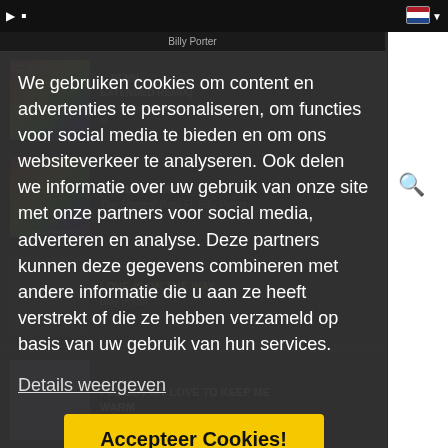We gebruiken cookies om content en advertenties te personaliseren, om functies voor social media te bieden en om ons websiteverkeer te analyseren. Ook delen we informatie over uw gebruik van onze site met onze partners voor social media, adverteren en analyse. Deze partners kunnen deze gegevens combineren met andere informatie die u aan ze heeft verstrekt of die ze hebben verzameld op basis van uw gebruik van hun services.
Details weergeven
Accepteer Cookies!